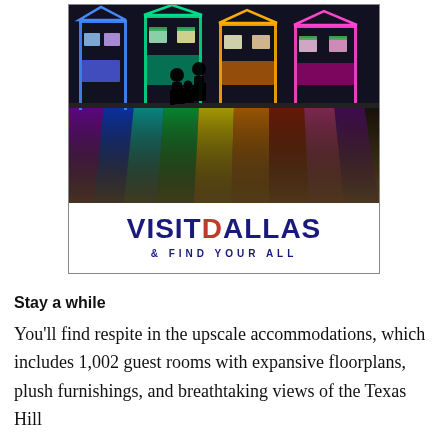[Figure (photo): Advertisement box with a photo of a colorful neon art installation in a museum — silhouettes of adults and a child in front of illuminated house-like structures with rainbow reflections on the floor. Below the photo is the VISIT DALLAS logo and tagline '& FIND YOUR ALL'.]
Stay a while
You'll find respite in the upscale accommodations, which includes 1,002 guest rooms with expansive floorplans, plush furnishings, and breathtaking views of the Texas Hill